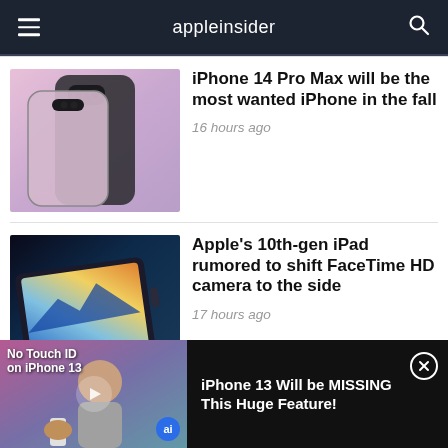appleinsider
[Figure (photo): iPhone 14 Pro Max product photo showing camera module and purple color]
iPhone 14 Pro Max will be the most wanted iPhone in the fall
16 hours ago
[Figure (photo): iPad with colorful landscape screen displayed at an angle]
Apple's 10th-gen iPad rumored to shift FaceTime HD camera to the side
17 hours ago
[Figure (screenshot): Video thumbnail: No Touch ID on iPhone 13, showing man holding iPhone]
iPhone 13 Will be MISSING This Huge Feature!